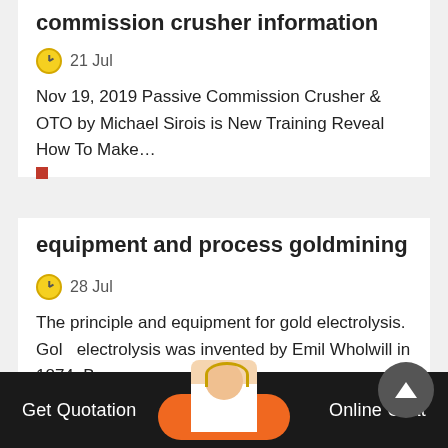commission crusher information
21 Jul
Nov 19, 2019 Passive Commission Crusher & OTO by Michael Sirois is New Training Reveal How To Make…
equipment and process goldmining
28 Jul
The principle and equipment for gold electrolysis. Gold electrolysis was invented by Emil Wholwill in 1874. B…
Get Quotation    Online Chat